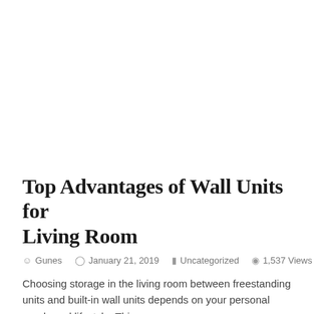[Figure (other): Large white/blank advertisement or image placeholder area at top of page]
Top Advantages of Wall Units for Living Room
Gunes   January 21, 2019   Uncategorized   1,537 Views
Choosing storage in the living room between freestanding units and built-in wall units depends on your personal needs and lifestyle. This